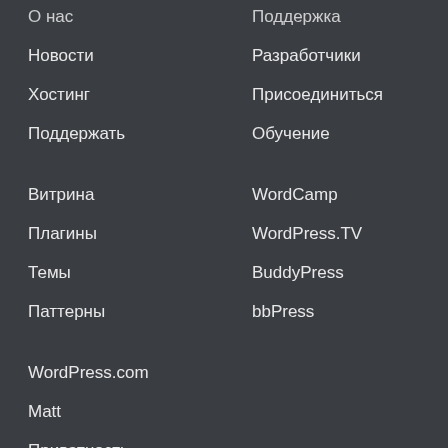Новости
Хостинг
Поддержать
Витрина
Плагины
Темы
Паттерны
WordPress.com
Matt
Приватность
Открытый код
Поддержка
Разработчики
Присоединиться
Обучение
WordCamp
WordPress.TV
BuddyPress
bbPress